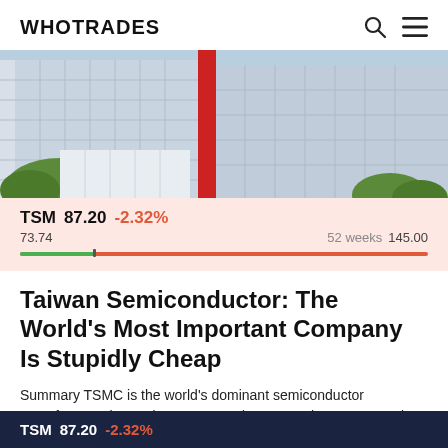WHOTRADES
[Figure (photo): Building exterior with glass facade and red vertical stripe, with trees in foreground]
TSM  87.20  -2.32%
73.74   52 weeks  145.00
Taiwan Semiconductor: The World's Most Important Company Is Stupidly Cheap
Summary TSMC is the world's dominant semiconductor manufacturer, has a deep moat, and grew earnings 76% YoY in Q2.Despite the strong fundamentals, the company trades at ~13x likely 2022 earnings du...
0   0
TSM  87.20  -2.32%